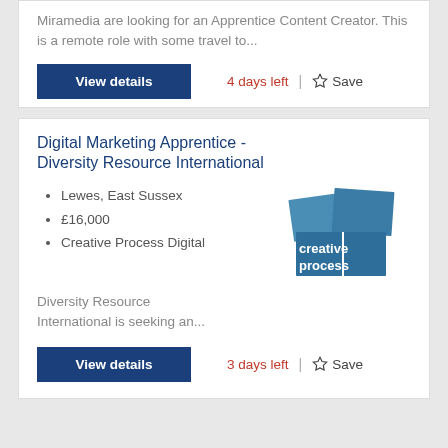Miramedia are looking for an Apprentice Content Creator. This is a remote role with some travel to...
View details
4 days left
Save
Digital Marketing Apprentice - Diversity Resource International
Lewes, East Sussex
£16,000
Creative Process Digital
[Figure (logo): Creative Process logo — blue geometric blocks with white text reading 'creative process']
Diversity Resource International is seeking an...
View details
3 days left
Save